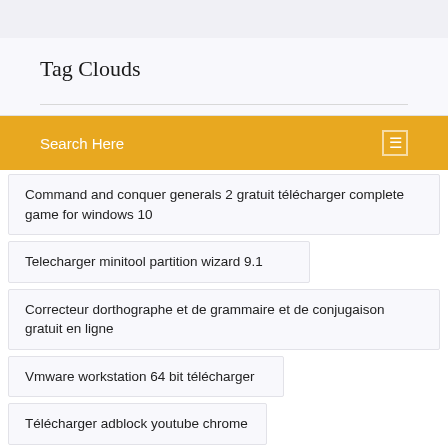Tag Clouds
Search Here
Command and conquer generals 2 gratuit télécharger complete game for windows 10
Telecharger minitool partition wizard 9.1
Correcteur dorthographe et de grammaire et de conjugaison gratuit en ligne
Vmware workstation 64 bit télécharger
Télécharger adblock youtube chrome
Impossible dactiver le wifi sous windows 10